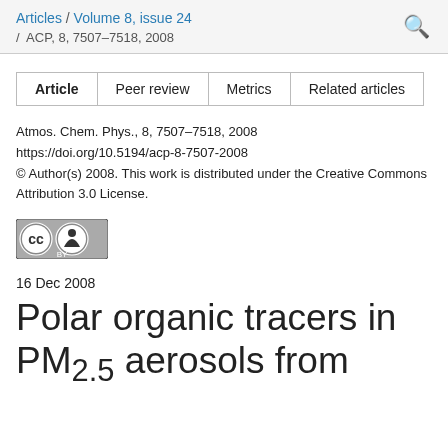Articles / Volume 8, issue 24 / ACP, 8, 7507–7518, 2008
| Article | Peer review | Metrics | Related articles |
| --- | --- | --- | --- |
Atmos. Chem. Phys., 8, 7507–7518, 2008
https://doi.org/10.5194/acp-8-7507-2008
© Author(s) 2008. This work is distributed under the Creative Commons Attribution 3.0 License.
[Figure (logo): Creative Commons Attribution (CC BY) license badge]
16 Dec 2008
Polar organic tracers in PM2.5 aerosols from